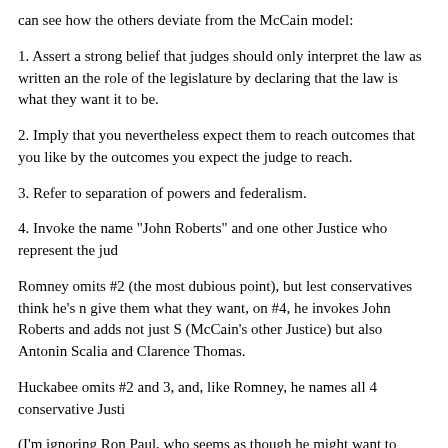can see how the others deviate from the McCain model:
1. Assert a strong belief that judges should only interpret the law as written and the role of the legislature by declaring that the law is what they want it to be.
2. Imply that you nevertheless expect them to reach outcomes that you like by the outcomes you expect the judge to reach.
3. Refer to separation of powers and federalism.
4. Invoke the name "John Roberts" and one other Justice who represent the jud
Romney omits #2 (the most dubious point), but lest conservatives think he's not going to give them what they want, on #4, he invokes John Roberts and adds not just S (McCain's other Justice) but also Antonin Scalia and Clarence Thomas.
Huckabee omits #2 and 3, and, like Romney, he names all 4 conservative Justi
(I'm ignoring Ron Paul, who seems as though he might want to repeal the 14th Amendment.)